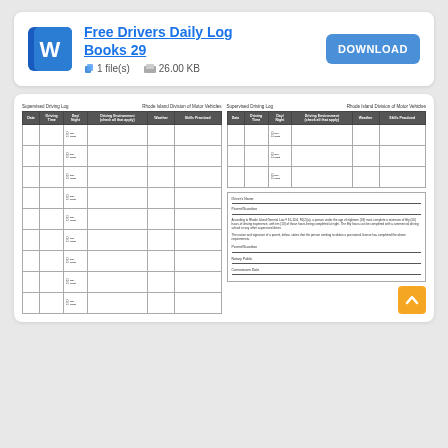[Figure (logo): Microsoft Word blue W icon]
Free Drivers Daily Log Books 29
1 file(s)   26.00 KB
[Figure (screenshot): Download button (blue, DOWNLOAD label)]
[Figure (table-as-image): Preview of Supervised Driving Log form showing two side-by-side log tables with columns for Date, Driving Time, Day/Night, Driving Environment, Weather, Skills Practiced, and checkboxes, plus a signature/legal section on the right.]